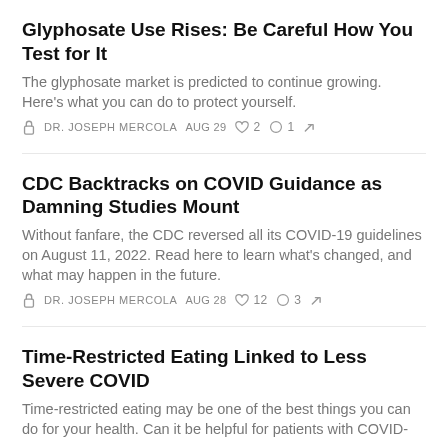Glyphosate Use Rises: Be Careful How You Test for It
The glyphosate market is predicted to continue growing. Here's what you can do to protect yourself.
DR. JOSEPH MERCOLA  AUG 29  ♡ 2  ○ 1  ↗
CDC Backtracks on COVID Guidance as Damning Studies Mount
Without fanfare, the CDC reversed all its COVID-19 guidelines on August 11, 2022. Read here to learn what's changed, and what may happen in the future.
DR. JOSEPH MERCOLA  AUG 28  ♡ 12  ○ 3  ↗
Time-Restricted Eating Linked to Less Severe COVID
Time-restricted eating may be one of the best things you can do for your health. Can it be helpful for patients with COVID-